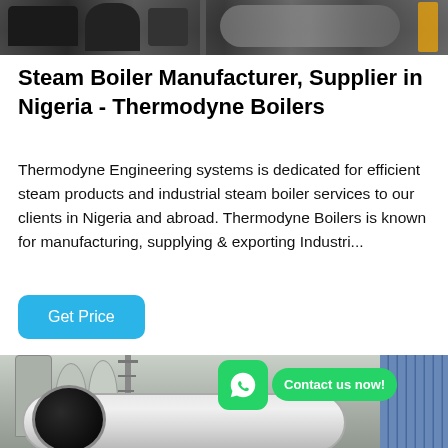[Figure (photo): Top banner photo of industrial steam boiler equipment, dark toned machinery]
Steam Boiler Manufacturer, Supplier in Nigeria - Thermodyne Boilers
Thermodyne Engineering systems is dedicated for efficient steam products and industrial steam boiler services to our clients in Nigeria and abroad. Thermodyne Boilers is known for manufacturing, supplying & exporting Industri...
Get Price
[Figure (photo): Bottom photo of large industrial steam boiler cylinder in a factory setting with storage tanks, crane tower, and blue corrugated wall. WhatsApp contact button overlay with green icon and 'Contact us now!' text.]